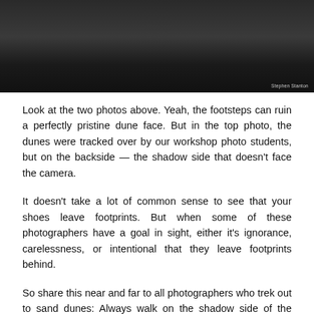[Figure (photo): Dark photograph of sand dunes, showing the shadowed face of the dune in dark tones against a nearly black background. A small photo credit reads 'Stephen Stanton' in the bottom right corner.]
Look at the two photos above. Yeah, the footsteps can ruin a perfectly pristine dune face. But in the top photo, the dunes were tracked over by our workshop photo students, but on the backside — the shadow side that doesn't face the camera.
It doesn't take a lot of common sense to see that your shoes leave footprints. But when some of these photographers have a goal in sight, either it's ignorance, carelessness, or intentional that they leave footprints behind.
So share this near and far to all photographers who trek out to sand dunes: Always walk on the shadow side of the dunes. Respect the other photographers who are out there!